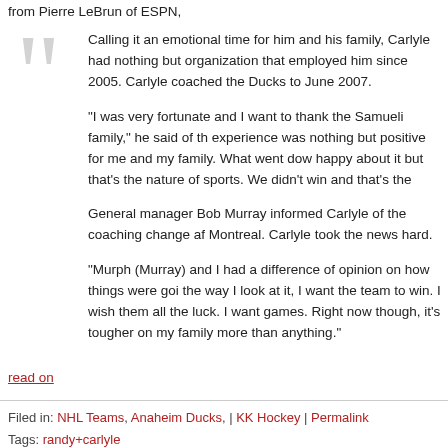from Pierre LeBrun of ESPN,
Calling it an emotional time for him and his family, Carlyle had nothing but organization that employed him since 2005. Carlyle coached the Ducks to June 2007.

"I was very fortunate and I want to thank the Samueli family," he said of th experience was nothing but positive for me and my family. What went dow happy about it but that's the nature of sports. We didn't win and that's the

General manager Bob Murray informed Carlyle of the coaching change af Montreal. Carlyle took the news hard.

"Murph (Murray) and I had a difference of opinion on how things were goi the way I look at it, I want the team to win. I wish them all the luck. I want games. Right now though, it's tougher on my family more than anything."
read on
Filed in: NHL Teams, Anaheim Ducks, | KK Hockey | Permalink
Tags: randy+carlyle